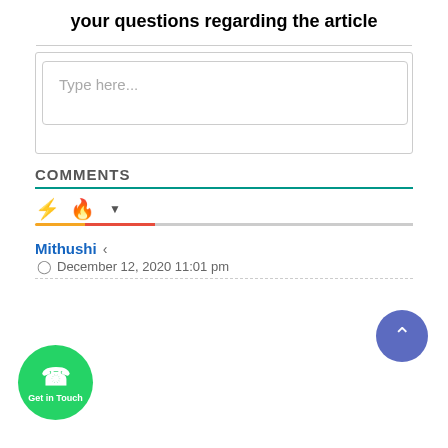your questions regarding the article
[Figure (screenshot): Text input box with placeholder 'Type here...']
COMMENTS
[Figure (infographic): Comment sorting icons: lightning bolt (orange), fire (red/orange), and dropdown arrow, with a progress bar below]
Mithushi
December 12, 2020 11:01 pm
[Figure (other): Green circular 'Get in Touch' WhatsApp button]
[Figure (other): Blue circular scroll-to-top button with upward arrow]